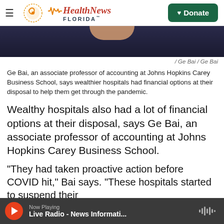Health News Florida — Donate
[Figure (photo): Partial photo of a person wearing a dark navy top, cropped at the shoulders/neck area. Ge Bai.]
/ Ge Bai / Ge Bai
Ge Bai, an associate professor of accounting at Johns Hopkins Carey Business School, says wealthier hospitals had financial options at their disposal to help them get through the pandemic.
Wealthy hospitals also had a lot of financial options at their disposal, says Ge Bai, an associate professor of accounting at Johns Hopkins Carey Business School.
"They had taken proactive action before COVID hit," Bai says. "These hospitals started to suspend their
Now Playing — Live Radio - News Informati...